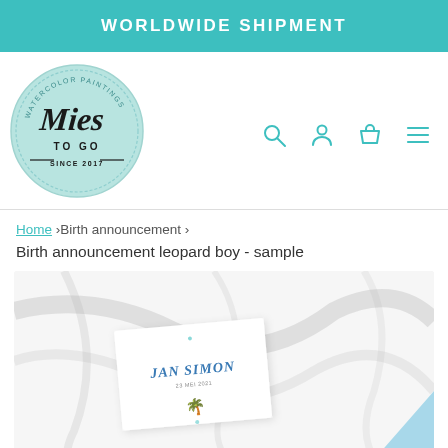WORLDWIDE SHIPMENT
[Figure (logo): Mies To Go watercolor paintings logo — circular teal badge with script lettering, since 2017]
[Figure (other): Navigation icons: search, user/account, cart/bag, hamburger menu — all in teal outline style]
Home › Birth announcement › Birth announcement leopard boy - sample
[Figure (photo): Photo of birth announcement card for 'Jan Simon' placed on a marble surface with a light blue envelope corner visible in lower right]